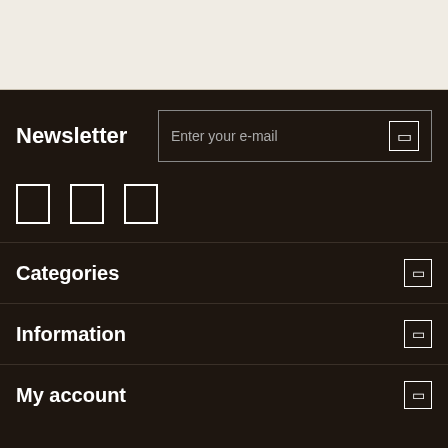[Figure (screenshot): Top beige/cream section of website footer with horizontal rule at top]
Newsletter
Enter your e-mail
[Figure (other): Three social media icon placeholders rendered as outlined rectangles]
Categories
Information
My account